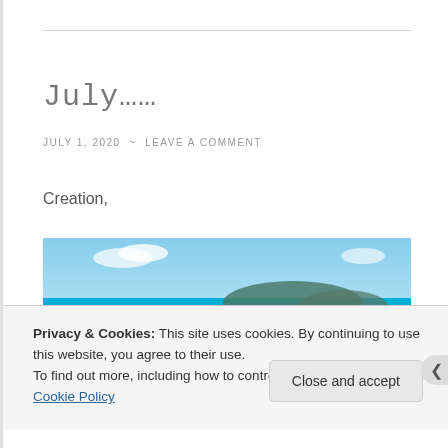July……
JULY 1, 2020  ~  LEAVE A COMMENT
Creation,
[Figure (photo): Beach scene with turquoise ocean, islands in background, and cursive white 'Hello' text overlay]
Privacy & Cookies: This site uses cookies. By continuing to use this website, you agree to their use.
To find out more, including how to control cookies, see here: Cookie Policy
Close and accept